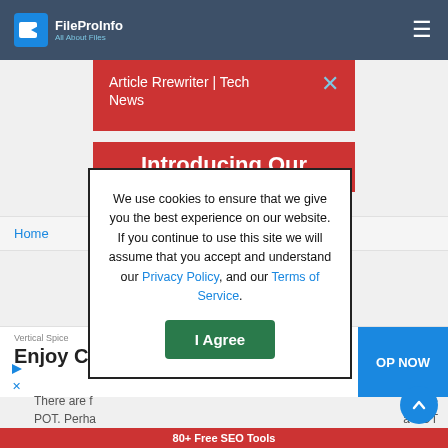FileProInfo — All About Files (navigation header)
Article Rrewriter | Tech News
Introducing Our
Home
We use cookies to ensure that we give you the best experience on our website. If you continue to use this site we will assume that you accept and understand our Privacy Policy, and our Terms of Service.
I Agree
Vertical Spice
Enjoy C
OP NOW
There are f
POT. Perha
80+ Free SEO Tools